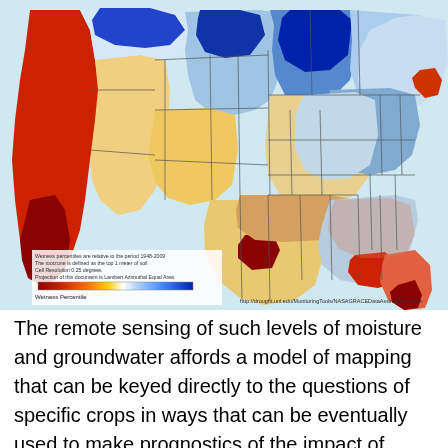[Figure (map): USA map showing wetness percentile based on GRACE satellite data. Color scale from dark red (dry) to dark blue (wet). Wetness percentiles are relative to the period 1948-2009. The rootzone is defined as the top 1 meter of soil. Cell Resolution 0.25 degrees. Projection of this document is Lambert Azimuthal Equal Area. URL: http://drought.unl.edu/MonitoringTools/NASAGRACEDataAssimilation.aspx]
The remote sensing of such levels of moisture and groundwater affords a model of mapping that can be keyed directly to the questions of specific crops in ways that can be eventually used to make prognostics of the impact of drought on the local economy.  If California's conditions seem to be due to meteorological particularities of low snowfall and few winter rains, held off the shore due